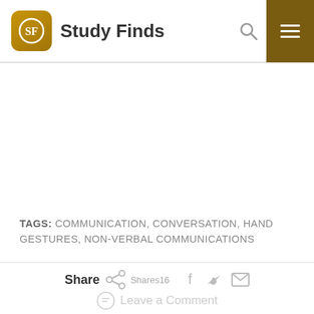Study Finds
TAGS: COMMUNICATION, CONVERSATION, HAND GESTURES, NON-VERBAL COMMUNICATIONS
Share  Shares16
Leave a Comment